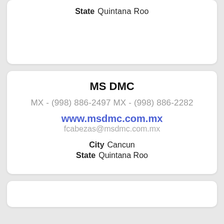State  Quintana Roo
MS DMC
MX - (998) 886-2497 MX - (998) 886-2282
www.msdmc.com.mx
fcabezas@msdmc.com.mx
City  Cancun
State  Quintana Roo